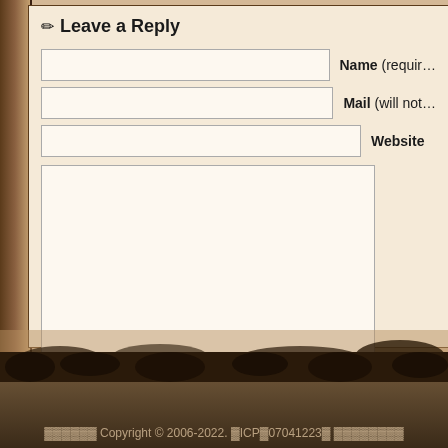✏ Leave a Reply
Name (required)
Mail (will not be published)
Website
Submit Comment
Copyright © 2006-2022. ICP07041223